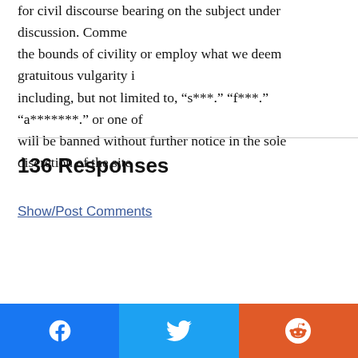for civil discourse bearing on the subject under discussion. Comments that exceed the bounds of civility or employ what we deem gratuitous vulgarity including, but not limited to, “s***,” “f***,” “a*******,” or one of will be banned without further notice in the sole discretion of the site
136 Responses
Show/Post Comments
[Figure (infographic): Social share bar with three buttons: Facebook (blue), Twitter (light blue), Reddit (orange-red)]